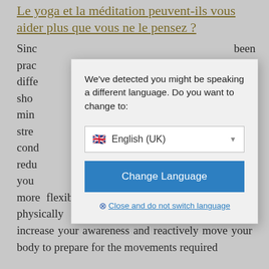Le yoga et la méditation peuvent-ils vous aider plus que vous ne le pensez ?
Sinc ... been prac ... many diffe ... been sho ... and min ... with stre ... and cond ... sion redu ... with you ... and more flexible. It helps you both mentally and physically by helping you focus your mind, increase your awareness and reactively move your body to prepare for the movements required
[Figure (screenshot): Language switch modal dialog with message 'We've detected you might be speaking a different language. Do you want to change to:' and a dropdown showing English (UK) with UK flag, a blue 'Change Language' button, and a 'Close and do not switch language' link.]